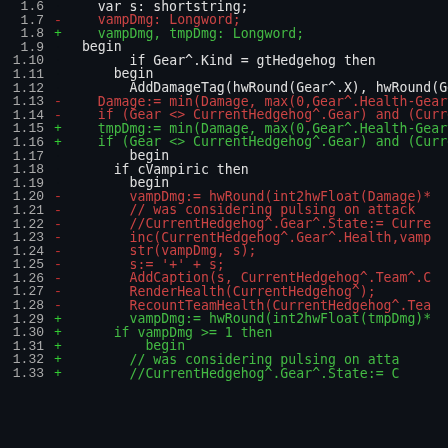[Figure (screenshot): Code diff viewer showing Pascal/Delphi source code with line numbers 1.6 through 1.33, dark background, red for removed lines, green for added lines, white/yellow for context lines, orange vertical borders on left and right.]